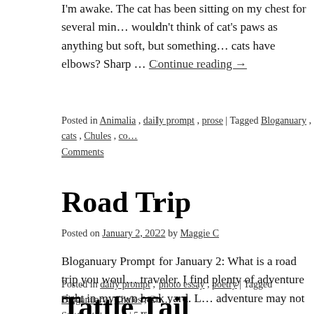I'm awake. The cat has been sitting on my chest for several min… wouldn't think of cat's paws as anything but soft, but something… cats have elbows? Sharp … Continue reading →
Posted in Animalia, daily prompt, prose | Tagged Bloganuary, cats, Chules, co… Comments
Road Trip
Posted on January 2, 2022 by Maggie C
Bloganuary Prompt for January 2: What is a road trip you woul… traveler. I find plenty of adventure right in my own back yard. L… adventure may not … Continue reading →
Posted in daily prompt, photo essay, poetry | Tagged Bloganuary, Chules, Co… State, Wyoming | 5 Comments
Tattle Tail